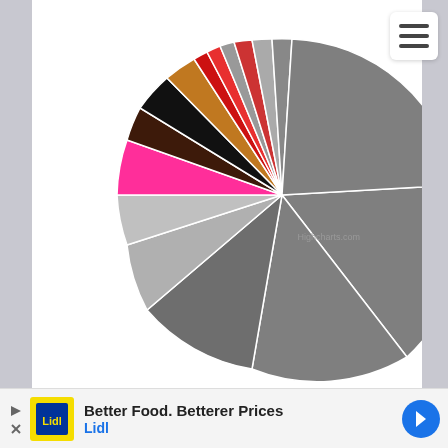[Figure (pie-chart): Pie chart with multiple slices in various colors including gray (large), dark gray, black, dark brown, magenta/pink, light gray, and several small slices in red, orange-brown, and other colors. The chart is rendered by Highcharts.]
Highcharts.com
[Figure (infographic): Advertisement banner: Better Food. Betterer Prices - Lidl, with Lidl logo and navigation arrow icon]